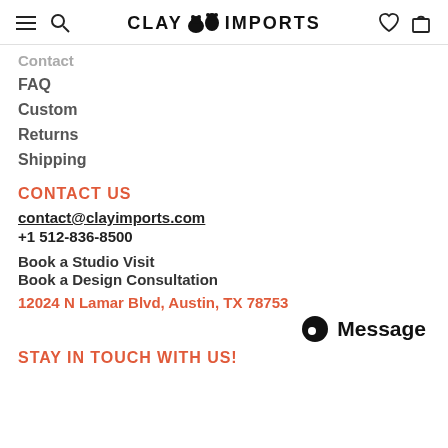CLAY IMPORTS
Contact
FAQ
Custom
Returns
Shipping
CONTACT US
contact@clayimports.com
+1 512-836-8500
Book a Studio Visit
Book a Design Consultation
12024 N Lamar Blvd, Austin, TX 78753
Message
STAY IN TOUCH WITH US!